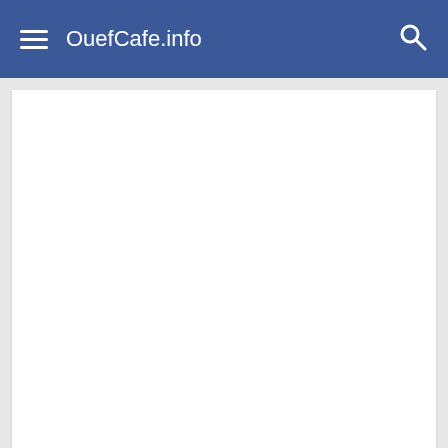OuefCafe.info
[Figure (screenshot): White blank content area below the navigation bar]